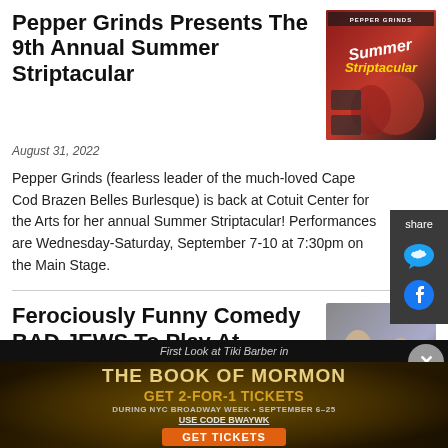Pepper Grinds Presents The 9th Annual Summer Striptacular
August 31, 2022
[Figure (photo): Promotional image for Pepper Grinds Summer Striptacular with red/dark themed performance art poster]
Pepper Grinds (fearless leader of the much-loved Cape Cod Brazen Belles Burlesque) is back at Cotuit Center for the Arts for her annual Summer Striptacular! Performances are Wednesday-Saturday, September 7-10 at 7:30pm on the Main Stage.
Ferociously Funny Comedy BAD JEWS To Play At Somerville's Rockwell Theater
August 30, 2022
[Figure (photo): Two actors in a scene from Bad Jews comedy play]
[Figure (other): Advertisement: The Book of Mormon - Get 2-for-1 Tickets during NYC Broadway Week September 6-25, use code BWAYWK. Get Tickets.]